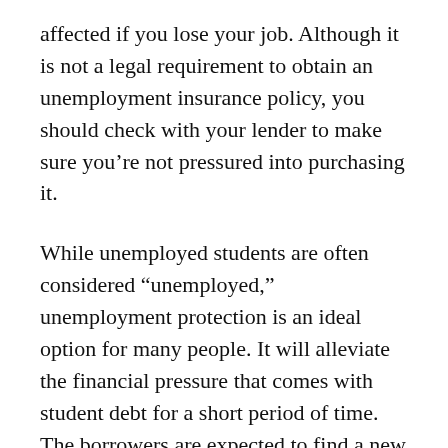affected if you lose your job. Although it is not a legal requirement to obtain an unemployment insurance policy, you should check with your lender to make sure you’re not pressured into purchasing it.
While unemployed students are often considered “unemployed,” unemployment protection is an ideal option for many people. It will alleviate the financial pressure that comes with student debt for a short period of time. The borrowers are expected to find a new job during the time their deferment is approved. The only drawback to this program is that it does not eliminate the amount you owe and the interest that has accrued over the last few